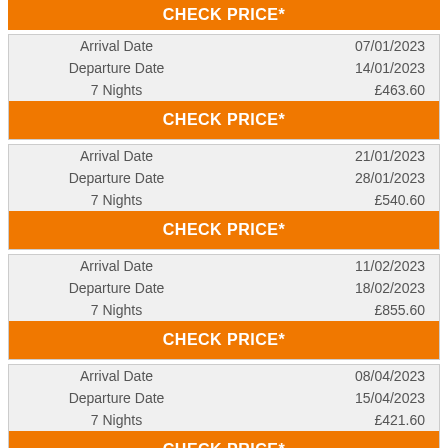| Arrival Date | 07/01/2023 |
| Departure Date | 14/01/2023 |
| 7 Nights | £463.60 |
CHECK PRICE*
| Arrival Date | 21/01/2023 |
| Departure Date | 28/01/2023 |
| 7 Nights | £540.60 |
CHECK PRICE*
| Arrival Date | 11/02/2023 |
| Departure Date | 18/02/2023 |
| 7 Nights | £855.60 |
CHECK PRICE*
| Arrival Date | 08/04/2023 |
| Departure Date | 15/04/2023 |
| 7 Nights | £421.60 |
CHECK PRICE*